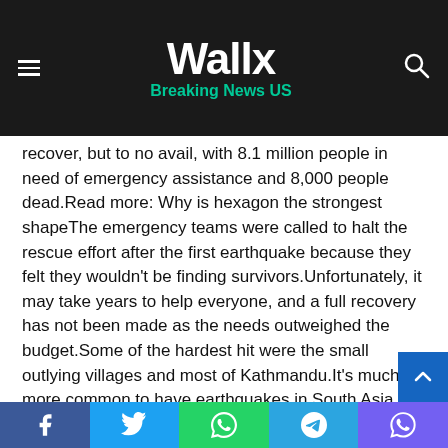Wallx — Breaking News US
recover, but to no avail, with 8.1 million people in need of emergency assistance and 8,000 people dead.Read more: Why is hexagon the strongest shapeThe emergency teams were called to halt the rescue effort after the first earthquake because they felt they wouldn't be finding survivors.Unfortunately, it may take years to help everyone, and a full recovery has not been made as the needs outweighed the budget.Some of the hardest hit were the small outlying villages and most of Kathmandu.It's much more common to have earthquakes in South Asia, but the problem for the Himalayan arc is it's far more probable for severe earthquakes to happen there and not in the southern region.This leaves the population quite vulnerable.How do
Facebook | Twitter | WhatsApp | Telegram | Viber